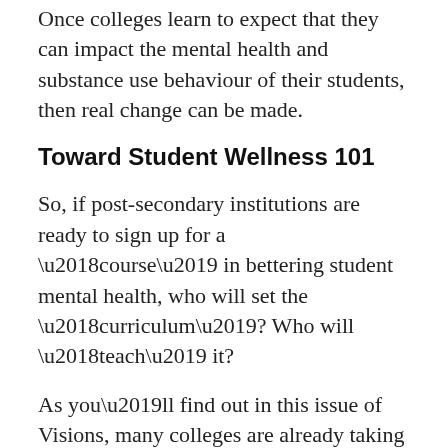Once colleges learn to expect that they can impact the mental health and substance use behaviour of their students, then real change can be made.
Toward Student Wellness 101
So, if post-secondary institutions are ready to sign up for a ‘course’ in bettering student mental health, who will set the ‘curriculum’? Who will ‘teach’ it?
As you’ll find out in this issue of Visions, many colleges are already taking advantage of various resources